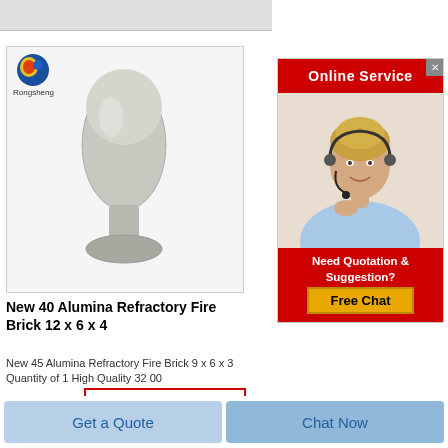[Figure (photo): Top cropped product image strip, gray background]
[Figure (photo): Rongsheng branded product image showing a bullet/mushroom shaped white refractory material on light gray background, with Rongsheng logo top-left]
New 40 Alumina Refractory Fire Brick 12 x 6 x 4
New 45 Alumina Refractory Fire Brick 9 x 6 x 3 Quantity of 1 High Quality 32 00
[Figure (screenshot): Get Price button with red border]
[Figure (screenshot): Online Service advertisement panel with red header, customer service agent photo, Need Quotation & Suggestion text, and Free Chat button]
[Figure (screenshot): Bottom bar with Get a Quote and Chat Now buttons]